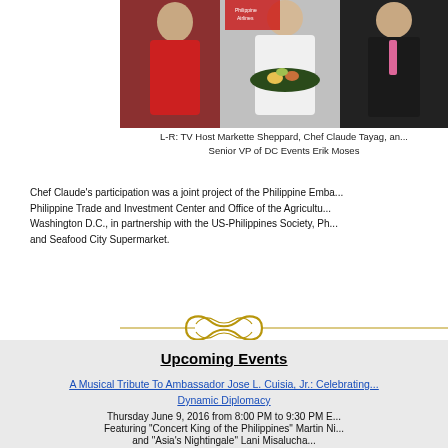[Figure (photo): Photo of three people standing together: a woman in a red dress on the left, a chef in white uniform holding a pan of food in the center, and a man in a dark suit on the right, with Philippine Airlines banners visible in the background.]
L-R: TV Host Markette Sheppard, Chef Claude Tayag, and Senior VP of DC Events Erik Moses
Chef Claude's participation was a joint project of the Philippine Embassy, Philippine Trade and Investment Center and Office of the Agricultural Attaché Washington D.C., in partnership with the US-Philippines Society, Philippine Airlines and Seafood City Supermarket.
[Figure (illustration): Decorative gold ornamental divider with scroll/infinity design flanked by horizontal lines]
Upcoming Events
A Musical Tribute To Ambassador Jose L. Cuisia, Jr.: Celebrating Dynamic Diplomacy
Thursday June 9, 2016 from 8:00 PM to 9:30 PM ET
Featuring "Concert King of the Philippines" Martin Ni...
and "Asia's Nightingale" Lani Misalucha...